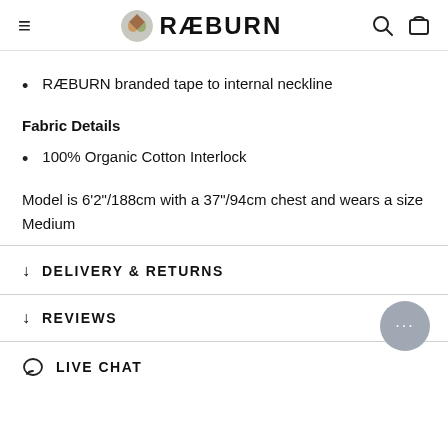≡  RÆBURN  🔍 🛍
RÆBURN branded tape to internal neckline
Fabric Details
100% Organic Cotton Interlock
Model is 6'2"/188cm with a 37"/94cm chest and wears a size Medium
↓ DELIVERY & RETURNS
↓ REVIEWS
LIVE CHAT